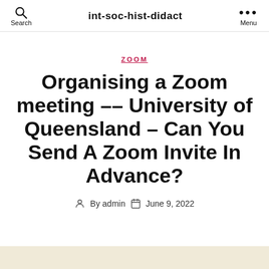Search  int-soc-hist-didact  Menu
ZOOM
Organising a Zoom meeting –– University of Queensland – Can You Send A Zoom Invite In Advance?
By admin  June 9, 2022